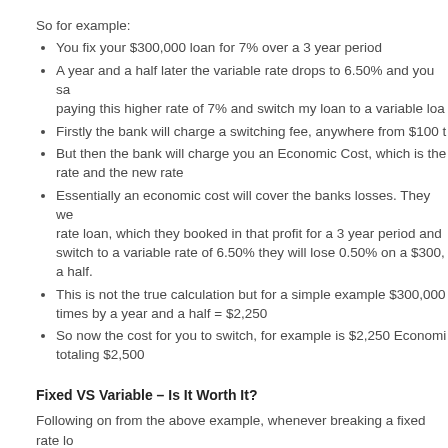So for example:
You fix your $300,000 loan for 7% over a 3 year period
A year and a half later the variable rate drops to 6.50% and you say I am sick of paying this higher rate of 7% and switch my loan to a variable loan
Firstly the bank will charge a switching fee, anywhere from $100 t...
But then the bank will charge you an Economic Cost, which is the difference between the rate and the new rate
Essentially an economic cost will cover the banks losses. They were giving you a fixed rate loan, which they booked in that profit for a 3 year period and if you now want to switch to a variable rate of 6.50% they will lose 0.50% on a $300,000 loan for a year and a half.
This is not the true calculation but for a simple example $300,000 x 0.50% multiplied times by a year and a half = $2,250
So now the cost for you to switch, for example is $2,250 Economic Cost + $250 fee totaling $2,500
Fixed VS Variable – Is It Worth It?
Following on from the above example, whenever breaking a fixed rate loan early you have to ask yourself, ‘is this worth it?"
Having a lower interest rate will reduce your interest monthly repayments but you still have debt and it has cost you money to switch.
$300,000 @ 7% = $1,750 per month in interest VS $300,000 + Fees of $ @ 6.50% = $1,638.54 per month in interest. This represents a saving of $111.46 per month, now multiply this saving over the remaining time left on your fixed loan, in the case a year and a half = 18 months.